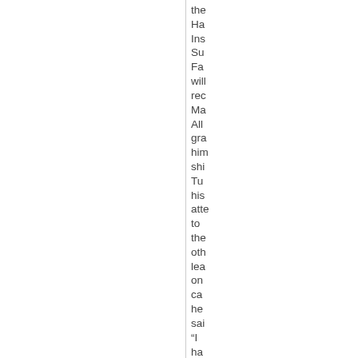the Ha Ins Su Fa will rec Ma All gra him shi Tu his atte to the oth lea on ca he sai "I ha